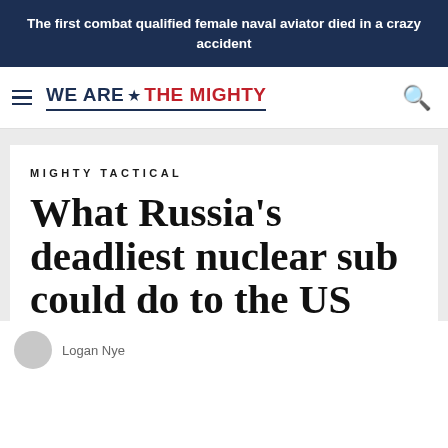The first combat qualified female naval aviator died in a crazy accident
[Figure (logo): We Are The Mighty website logo with hamburger menu icon and search icon]
MIGHTY TACTICAL
What Russia's deadliest nuclear sub could do to the US
Logan Nye